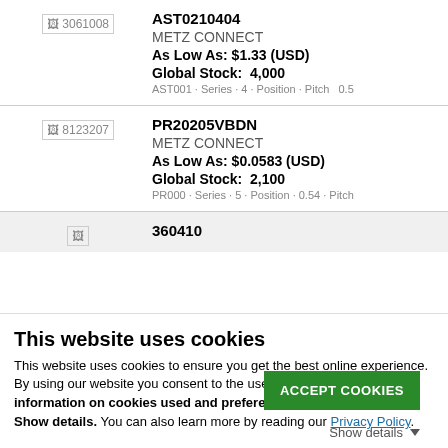[Figure (screenshot): Product listing row 1: image placeholder '3061008', product AST0210404 by METZ CONNECT, As Low As: $1.33 (USD), Global Stock: 4,000]
[Figure (screenshot): Product listing row 2: image placeholder '8123207', product PR20205VBDN by METZ CONNECT, As Low As: $0.0583 (USD), Global Stock: 2,100]
[Figure (screenshot): Partial product listing row 3: product ID 360410 visible]
This website uses cookies
This website uses cookies to ensure you get the best online experience. By using our website you consent to the use of cookies. More information on cookies used and preferences is available under Show details. You can also learn more by reading our Privacy Policy.
ACCEPT COOKIES
Show details